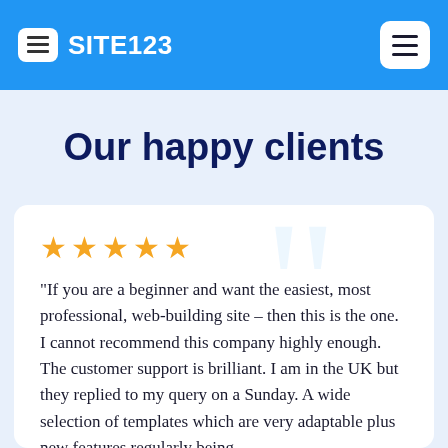SITE123
Our happy clients
"If you are a beginner and want the easiest, most professional, web-building site – then this is the one. I cannot recommend this company highly enough. The customer support is brilliant. I am in the UK but they replied to my query on a Sunday. A wide selection of templates which are very adaptable plus new features regularly being